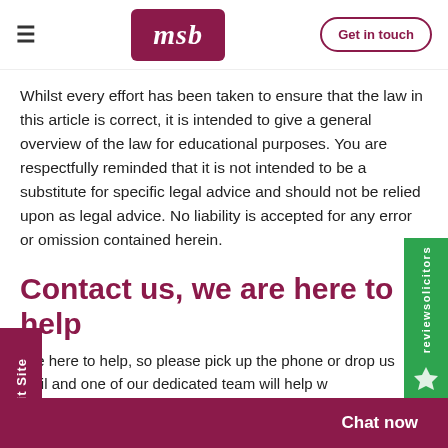[Figure (logo): MSB law firm logo — white italic 'msb' text on dark maroon/crimson rounded rectangle background]
Whilst every effort has been taken to ensure that the law in this article is correct, it is intended to give a general overview of the law for educational purposes. You are respectfully reminded that it is not intended to be a substitute for specific legal advice and should not be relied upon as legal advice. No liability is accepted for any error or omission contained herein.
Contact us, we are here to help
We're here to help, so please pick up the phone or drop us an email and one of our dedicated team will help w...